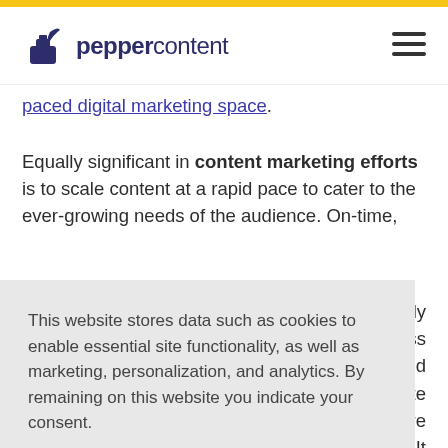[Figure (logo): Pepper Content logo with ink bottle icon and brand name 'peppercontent']
paced digital marketing space.
Equally significant in content marketing efforts is to scale content at a rapid pace to cater to the ever-growing needs of the audience. On-time, [partially obscured] not only [partially obscured] business [partially obscured] required [partially obscured] corporate [partially obscured]sy. More [partially obscured]agement. It [partially obscured]lity
This website stores data such as cookies to enable essential site functionality, as well as marketing, personalization, and analytics. By remaining on this website you indicate your consent.
Cookie Policy